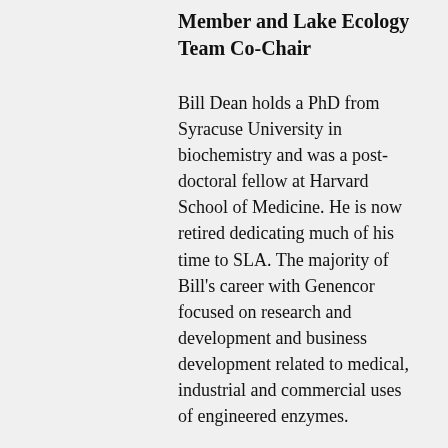Member and Lake Ecology Team Co-Chair
Bill Dean holds a PhD from Syracuse University in biochemistry and was a post-doctoral fellow at Harvard School of Medicine. He is now retired dedicating much of his time to SLA. The majority of Bill's career with Genencor focused on research and development and business development related to medical, industrial and commercial uses of engineered enzymes.
Charles T. Driscoll, PhD, Syracuse University Professor of Environmental Systems,